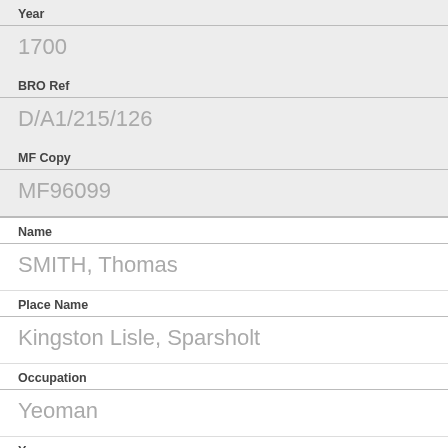Year
1700
BRO Ref
D/A1/215/126
MF Copy
MF96099
Name
SMITH, Thomas
Place Name
Kingston Lisle, Sparsholt
Occupation
Yeoman
Year